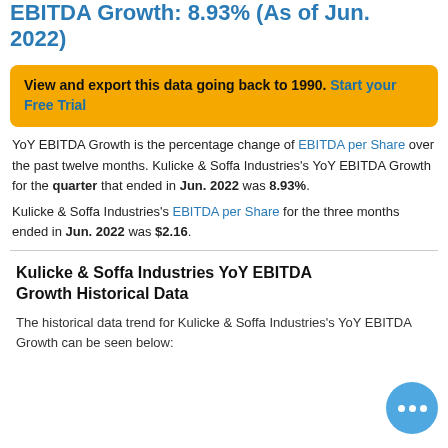EBITDA Growth: 8.93% (As of Jun. 2022)
View and export this data going back to 1990. Start your Free Trial
YoY EBITDA Growth is the percentage change of EBITDA per Share over the past twelve months. Kulicke & Soffa Industries's YoY EBITDA Growth for the quarter that ended in Jun. 2022 was 8.93%.
Kulicke & Soffa Industries's EBITDA per Share for the three months ended in Jun. 2022 was $2.16.
Kulicke & Soffa Industries YoY EBITDA Growth Historical Data
The historical data trend for Kulicke & Soffa Industries's YoY EBITDA Growth can be seen below: